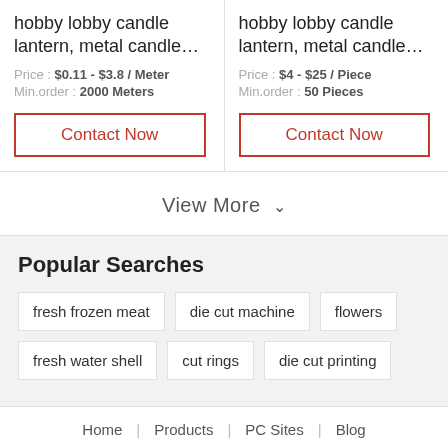hobby lobby candle lantern, metal candle…
Price : $0.11 - $3.8 / Meter
Min.order : 2000 Meters
Contact Now
hobby lobby candle lantern, metal candle…
Price : $4 - $25 / Piece
Min.order : 50 Pieces
Contact Now
View More ∨
Popular Searches
fresh frozen meat
die cut machine
flowers
fresh water shell
cut rings
die cut printing
Home | Products | PC Sites | Blog